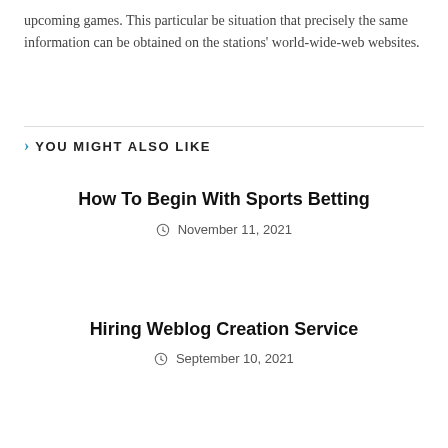upcoming games. This particular be situation that precisely the same information can be obtained on the stations' world-wide-web websites.
YOU MIGHT ALSO LIKE
How To Begin With Sports Betting
November 11, 2021
Hiring Weblog Creation Service
September 10, 2021